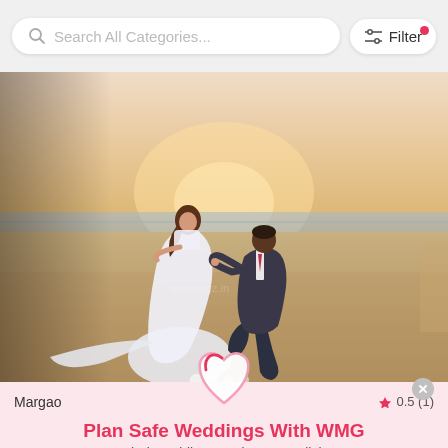[Figure (screenshot): Mobile app search bar with 'Search All Categories...' placeholder and a Filter button with a red notification dot]
[Figure (photo): A man kneeling on a beach proposing to a woman in a white wedding dress at sunset, with ocean in the background. Carousel dots visible at bottom.]
Margao
0.5 (1)
[Figure (illustration): Pink heart icon overlay on banner]
Plan Safe Weddings With WMG
Find Wedding Vendors at 1 Click
Download the WMG App